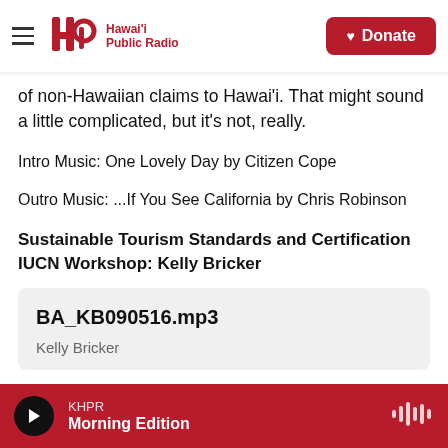Hawai'i Public Radio — Donate
of non-Hawaiian claims to Hawai'i. That might sound a little complicated, but it's not, really.
Intro Music: One Lovely Day by Citizen Cope
Outro Music: ...If You See California by Chris Robinson
Sustainable Tourism Standards and Certification IUCN Workshop: Kelly Bricker
[Figure (other): Audio player card showing file BA_KB090516.mp3 by Kelly Bricker]
KHPR — Morning Edition (player bar)